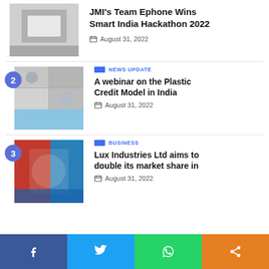JMI's Team Ephone Wins Smart India Hackathon 2022
August 31, 2022
NEWS UPDATE
A webinar on the Plastic Credit Model in India
August 31, 2022
BUSINESS
Lux Industries Ltd aims to double its market share in
August 31, 2022
f  (Twitter bird)  (WhatsApp)  (Share)